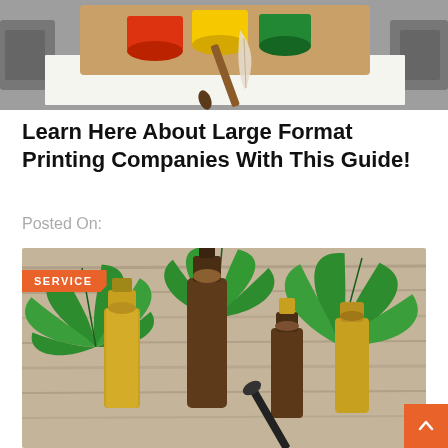[Figure (photo): Large format printing machine with colorful paint cans and brushes on paper]
Learn Here About Large Format Printing Companies With This Guide!
Posted On:
[Figure (photo): Cannabis leaves with essential oil dropper bottles on wooden surface, SERVICE badge overlay]